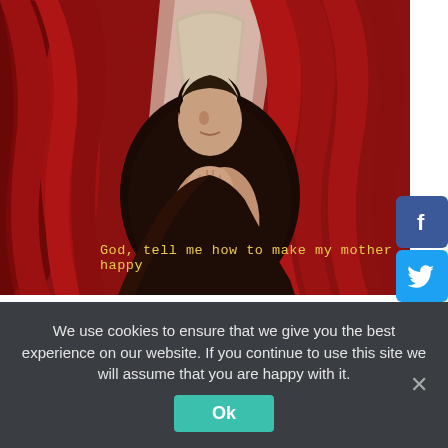[Figure (illustration): Digital illustration of a hooded figure with hands pressed together in prayer against a red curtain/cave background. An animated/stylized character praying.]
God, tell me how to make my mother happy
After his mother screams abuse because he won't go to sleep, a Mexican niño's prayer requesting God to Make Me A Saint gets answered in a
We use cookies to ensure that we give you the best experience on our website. If you continue to use this site we will assume that you are happy with it.
Ok